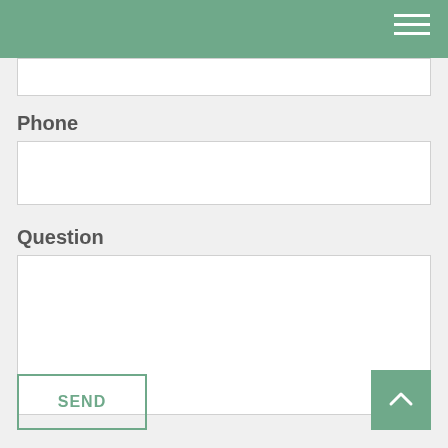Navigation header with hamburger menu
Phone
Question
SEND